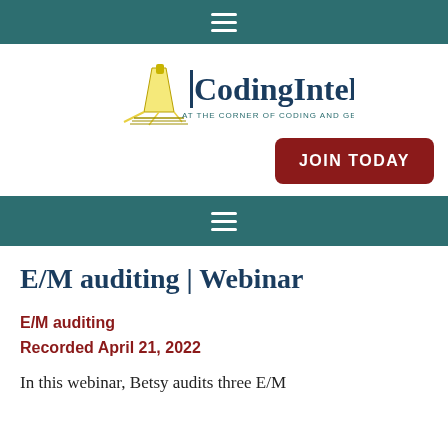≡
[Figure (logo): CodingIntel logo with tagline 'AT THE CORNER OF CODING AND GETTING PAID']
JOIN TODAY
≡
E/M auditing | Webinar
E/M auditing
Recorded April 21, 2022
In this webinar, Betsy audits three E/M